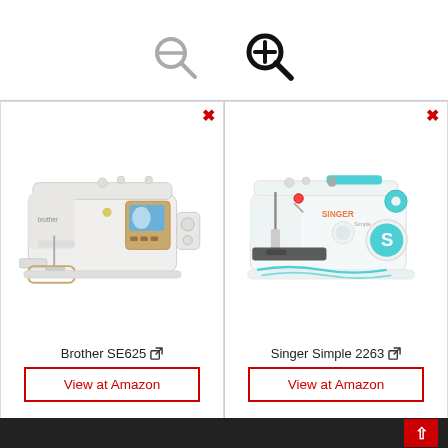[Figure (screenshot): Zoom out icon (magnifying glass with minus)]
[Figure (screenshot): Zoom in icon (magnifying glass with plus, bold/highlighted)]
[Figure (photo): Brother SE625 sewing/embroidery machine product photo showing white machine with embroidery arm and golden control panel]
Brother SE625
View at Amazon
[Figure (photo): Singer Simple 2263 sewing machine product photo showing white machine with teal/aqua accents and dial controls]
Singer Simple 2263
View at Amazon